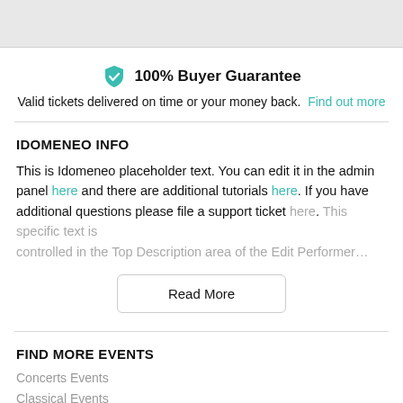[Figure (other): Top grey navigation/header bar]
100% Buyer Guarantee
Valid tickets delivered on time or your money back. Find out more
IDOMENEO INFO
This is Idomeneo placeholder text. You can edit it in the admin panel here and there are additional tutorials here. If you have additional questions please file a support ticket here. This specific text is controlled in the Top Description area of the Edit Performer…
Read More
FIND MORE EVENTS
Concerts Events
Classical Events